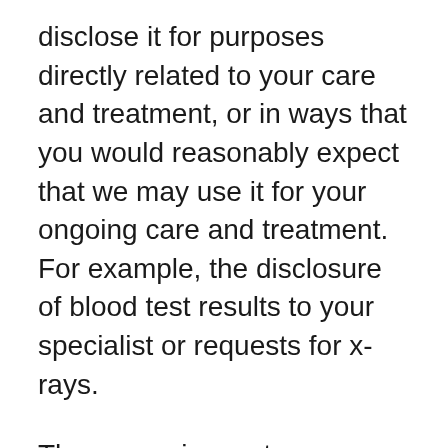disclose it for purposes directly related to your care and treatment, or in ways that you would reasonably expect that we may use it for your ongoing care and treatment. For example, the disclosure of blood test results to your specialist or requests for x-rays.
There are circumstances where we may be permitted or required by law to disclose your personal information to third parties. For example, to Medicare, Police, insurers, solicitors, government regulatory bodies,